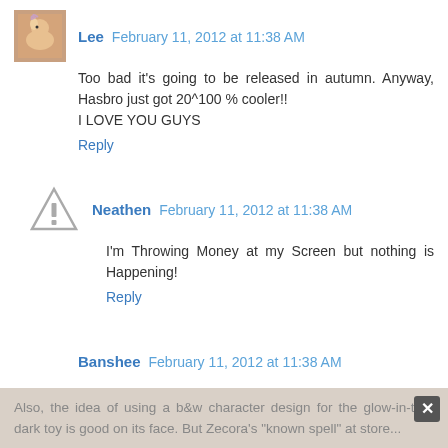Lee  February 11, 2012 at 11:38 AM
Too bad it's going to be released in autumn. Anyway, Hasbro just got 20^100 % cooler!!
I LOVE YOU GUYS
Reply
Neathen  February 11, 2012 at 11:38 AM
I'm Throwing Money at my Screen but nothing is Happening!
Reply
Banshee  February 11, 2012 at 11:38 AM
Thank you, Hasbro! (Now short for "Has bronies' cash"!) These are really nice, look good, and possess a great deal of cuteness without being overly cutesy. I look forward to buying my set (if any remain on the shelves long enough for me to get there).
Also, the idea of using a b&w character design for the glow-in-the-dark toy is good on its face. But Zecora's "known spell" at store...